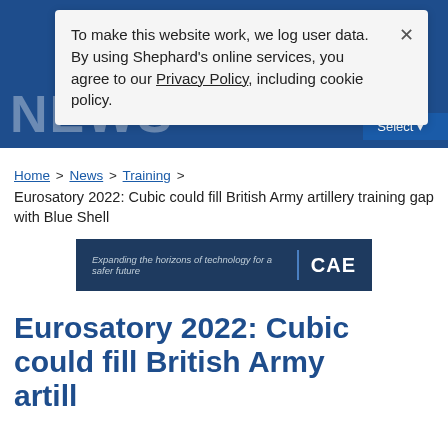Shephard News
To make this website work, we log user data. By using Shephard's online services, you agree to our Privacy Policy, including cookie policy.
Home > News > Training > Eurosatory 2022: Cubic could fill British Army artillery training gap with Blue Shell
[Figure (logo): CAE advertisement banner: 'Expanding the horizons of technology for a safer future | CAE']
Eurosatory 2022: Cubic could fill British Army artillery training gap with Blue Shell